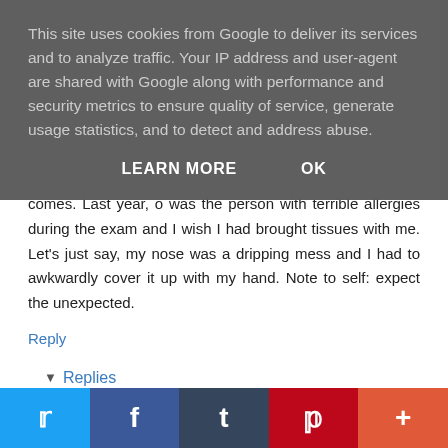This site uses cookies from Google to deliver its services and to analyze traffic. Your IP address and user-agent are shared with Google along with performance and security metrics to ensure quality of service, generate usage statistics, and to detect and address abuse.
LEARN MORE   OK
comes. Last year, o was the person with terrible allergies during the exam and I wish I had brought tissues with me. Let's just say, my nose was a dripping mess and I had to awkwardly cover it up with my hand. Note to self: expect the unexpected.
Reply
▾ Replies
Cee Arr @ Dora Reads ⬤ 30 April 2017 at 14:49